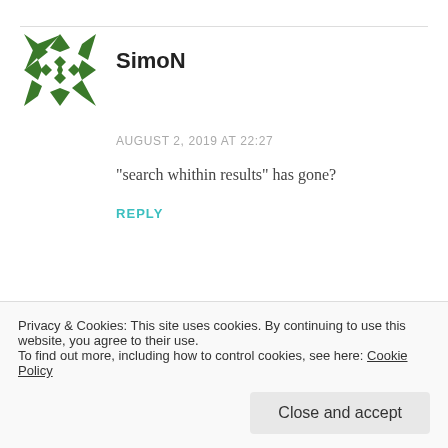[Figure (illustration): Green geometric pinwheel/star avatar logo for user SimoN]
SimoN
AUGUST 2, 2019 AT 22:27
“search whithin results” has gone?
REPLY
[Figure (photo): Circular avatar photo showing stacked metallic rings/gears for user Kai]
Kai
Privacy & Cookies: This site uses cookies. By continuing to use this website, you agree to their use.
To find out more, including how to control cookies, see here: Cookie Policy
Close and accept